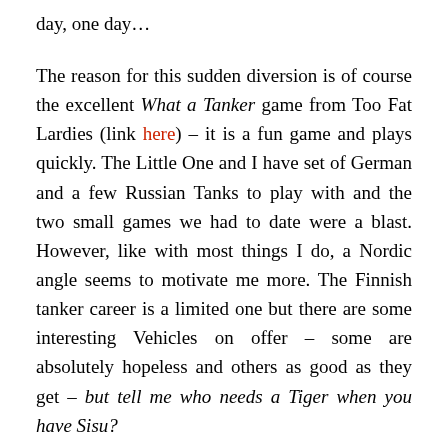day, one day…
The reason for this sudden diversion is of course the excellent What a Tanker game from Too Fat Lardies (link here) – it is a fun game and plays quickly.  The Little One and I have set of German and a few Russian Tanks to play with and the two small games we had to date were a blast.  However, like with most things I do, a Nordic angle seems to motivate me more.  The Finnish tanker career is a limited one but there are some interesting Vehicles on offer – some are absolutely hopeless and others as good as they get – but tell me who needs a Tiger when you have Sisu?
I have the spent the last few days painting a large